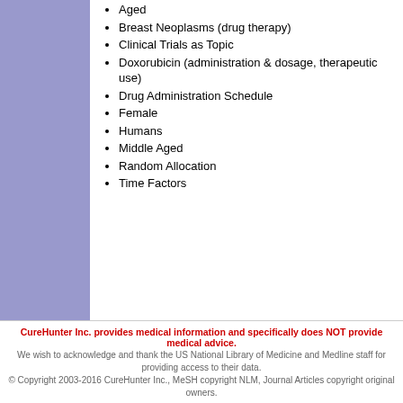Aged
Breast Neoplasms (drug therapy)
Clinical Trials as Topic
Doxorubicin (administration & dosage, therapeutic use)
Drug Administration Schedule
Female
Humans
Middle Aged
Random Allocation
Time Factors
CureHunter Inc. provides medical information and specifically does NOT provide medical advice. We wish to acknowledge and thank the US National Library of Medicine and Medline staff for providing access to their data. © Copyright 2003-2016 CureHunter Inc., MeSH copyright NLM, Journal Articles copyright original owners.